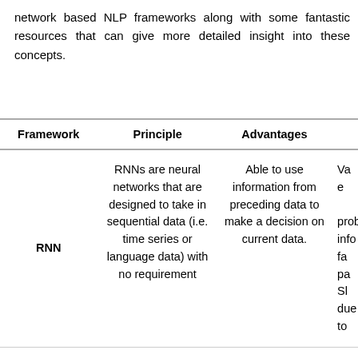network based NLP frameworks along with some fantastic resources that can give more detailed insight into these concepts.
| Framework | Principle | Advantages | Disa… |
| --- | --- | --- | --- |
| RNN | RNNs are neural networks that are designed to take in sequential data (i.e. time series or language data) with no requirement | Able to use information from preceding data to make a decision on current data. | Va… e… prob… info… fa… pa… Sl… due… to… |